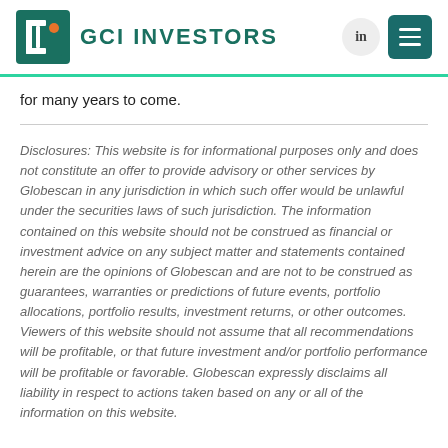[Figure (logo): GCI Investors logo with teal square bracket icon and orange dot, company name in teal text 'GCI INVESTORS']
for many years to come.
Disclosures: This website is for informational purposes only and does not constitute an offer to provide advisory or other services by Globescan in any jurisdiction in which such offer would be unlawful under the securities laws of such jurisdiction. The information contained on this website should not be construed as financial or investment advice on any subject matter and statements contained herein are the opinions of Globescan and are not to be construed as guarantees, warranties or predictions of future events, portfolio allocations, portfolio results, investment returns, or other outcomes. Viewers of this website should not assume that all recommendations will be profitable, or that future investment and/or portfolio performance will be profitable or favorable. Globescan expressly disclaims all liability in respect to actions taken based on any or all of the information on this website.